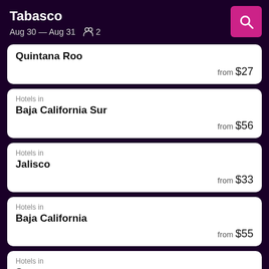Tabasco
Aug 30 — Aug 31  2
Hotels in Quintana Roo from $27
Hotels in Baja California Sur from $56
Hotels in Jalisco from $33
Hotels in Baja California from $55
Hotels in Sonora from $34